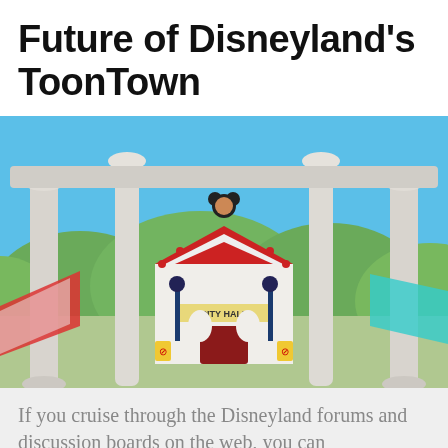Future of Disneyland's ToonTown
[Figure (photo): Photo of Disneyland's ToonTown City Hall building seen through ornate white columns, with cartoon-style architecture, colorful decorations, Mickey Mouse figure on top, lamp posts, no-smoking signs, and whimsical green rolling hills in the background under a blue sky.]
If you cruise through the Disneyland forums and discussion boards on the web, you can